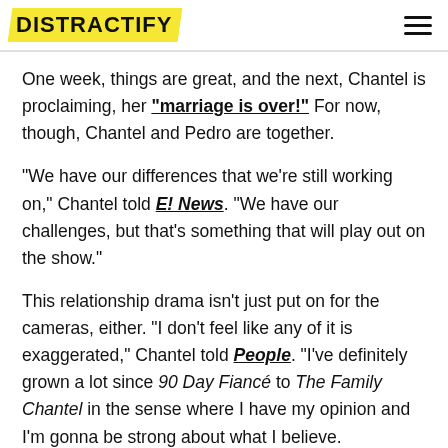DISTRACTIFY
One week, things are great, and the next, Chantel is proclaiming, her "marriage is over!" For now, though, Chantel and Pedro are together.
"We have our differences that we're still working on," Chantel told E! News. "We have our challenges, but that's something that will play out on the show."
This relationship drama isn't just put on for the cameras, either. "I don't feel like any of it is exaggerated," Chantel told People. "I've definitely grown a lot since 90 Day Fiancé to The Family Chantel in the sense where I have my opinion and I'm gonna be strong about what I believe.